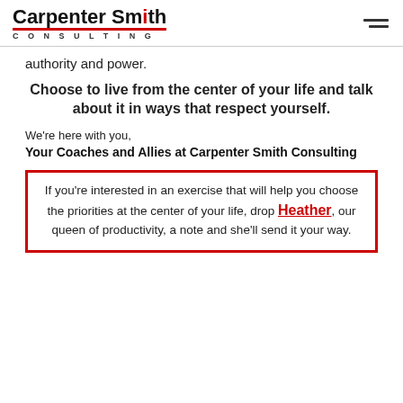Carpenter Smith CONSULTING
authority and power.
Choose to live from the center of your life and talk about it in ways that respect yourself.
We're here with you,
Your Coaches and Allies at Carpenter Smith Consulting
If you're interested in an exercise that will help you choose the priorities at the center of your life, drop Heather, our queen of productivity, a note and she'll send it your way.